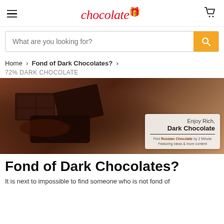chocolate [gift icon] [cart icon]
What are you looking for?
Home > Fond of Dark Chocolates? > 72% DARK CHOCOLATE
[Figure (photo): Hero banner showing pieces of dark chocolate on a dark surface with cocoa powder. Overlay card reads: Enjoy Rich, Dark Chocolate. Find Russian Chocolate by 2 Minute. Featuring ideas & more content.]
Fond of Dark Chocolates?
It is next to impossible to find someone who is not fond of